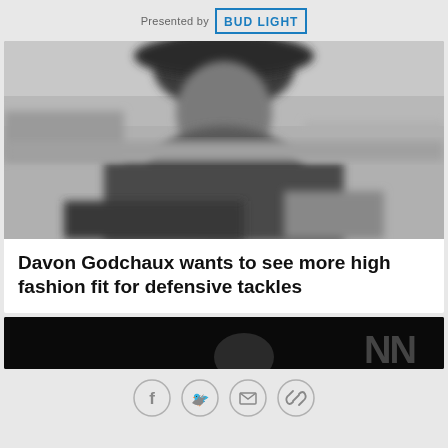Presented by BUD LIGHT
[Figure (photo): Black and white blurred photo of a person, likely a football player, outdoors]
Davon Godchaux wants to see more high fashion fit for defensive tackles
[Figure (photo): Dark/black bottom strip with partial face visible and geometric pattern on right side]